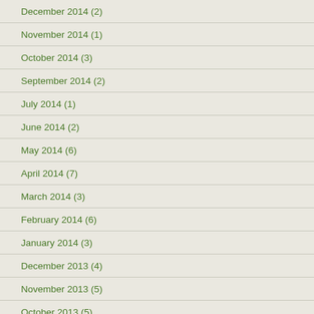December 2014 (2)
November 2014 (1)
October 2014 (3)
September 2014 (2)
July 2014 (1)
June 2014 (2)
May 2014 (6)
April 2014 (7)
March 2014 (3)
February 2014 (6)
January 2014 (3)
December 2013 (4)
November 2013 (5)
October 2013 (5)